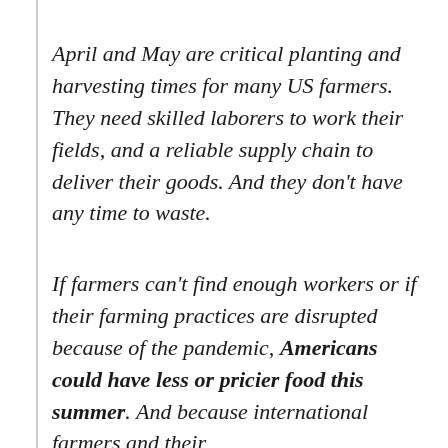April and May are critical planting and harvesting times for many US farmers. They need skilled laborers to work their fields, and a reliable supply chain to deliver their goods. And they don't have any time to waste.
If farmers can't find enough workers or if their farming practices are disrupted because of the pandemic, Americans could have less or pricier food this summer. And because international farmers and their